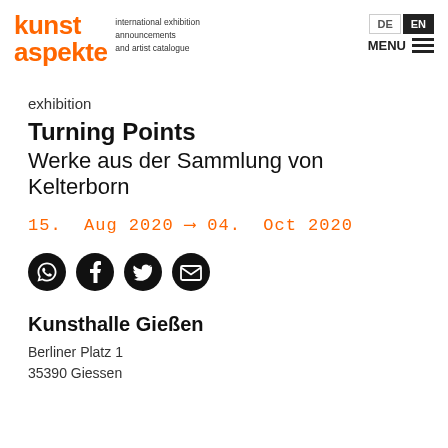kunst aspekte — international exhibition announcements and artist catalogue
exhibition
Turning Points
Werke aus der Sammlung von Kelterborn
15. Aug 2020 ——> 04. Oct 2020
[Figure (infographic): Four social sharing icons: WhatsApp, Facebook, Twitter, Email — black circular icons]
Kunsthalle Gießen
Berliner Platz 1
35390 Giessen